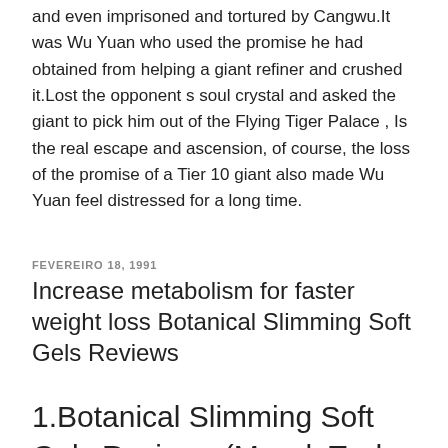and even imprisoned and tortured by Cangwu.It was Wu Yuan who used the promise he had obtained from helping a giant refiner and crushed it.Lost the opponent s soul crystal and asked the giant to pick him out of the Flying Tiger Palace , Is the real escape and ascension, of course, the loss of the promise of a Tier 10 giant also made Wu Yuan feel distressed for a long time.
FEVEREIRO 18, 1991
Increase metabolism for faster weight loss Botanical Slimming Soft Gels Reviews
1.Botanical Slimming Soft Gels Reviews (MuscleTech Hardcore Elite Powder)